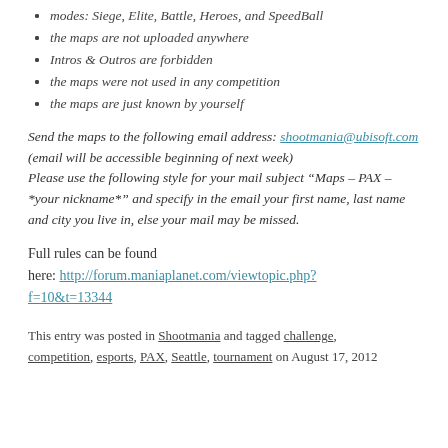modes: Siege, Elite, Battle, Heroes, and SpeedBall
the maps are not uploaded anywhere
Intros & Outros are forbidden
the maps were not used in any competition
the maps are just known by yourself
Send the maps to the following email address: shootmania@ubisoft.com (email will be accessible beginning of next week)
Please use the following style for your mail subject “Maps – PAX – *your nickname*” and specify in the email your first name, last name and city you live in, else your mail may be missed.
Full rules can be found here: http://forum.maniaplanet.com/viewtopic.php?f=10&t=13344
This entry was posted in Shootmania and tagged challenge, competition, esports, PAX, Seattle, tournament on August 17, 2012